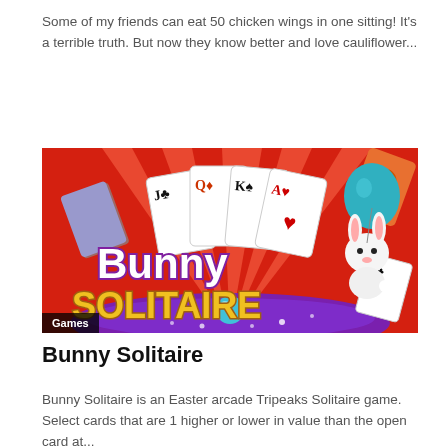Some of my friends can eat 50 chicken wings in one sitting! It's a terrible truth. But now they know better and love cauliflower...
Read more
[Figure (illustration): Bunny Solitaire game promotional image with playing cards (J♣, Q♦, K♠, A♥), large 'Bunny Solitaire' text logo in purple and gold on a red background, cartoon bunny with teal balloon, and a 'Games' label in bottom left corner.]
Bunny Solitaire
Bunny Solitaire is an Easter arcade Tripeaks Solitaire game. Select cards that are 1 higher or lower in value than the open card at...